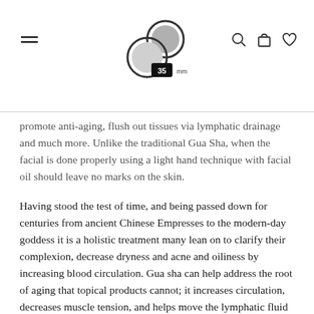[Logo: 35mm] [hamburger menu] [search icon] [cart icon] [heart icon]
promote anti-aging, flush out tissues via lymphatic drainage and much more. Unlike the traditional Gua Sha, when the facial is done properly using a light hand technique with facial oil should leave no marks on the skin.
Having stood the test of time, and being passed down for centuries from ancient Chinese Empresses to the modern-day goddess it is a holistic treatment many lean on to clarify their complexion, decrease dryness and acne and oiliness by increasing blood circulation. Gua sha can help address the root of aging that topical products cannot; it increases circulation, decreases muscle tension, and helps move the lymphatic fluid while giving an almost immediate lift and radiant glow.
The ergonomic design was hand carved to adapt to the shape...